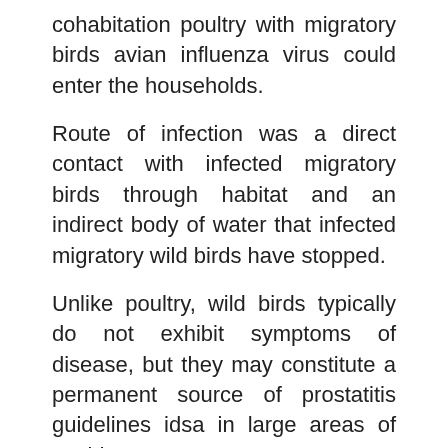cohabitation poultry with migratory birds avian influenza virus could enter the households.
Route of infection was a direct contact with infected migratory birds through habitat and an indirect body of water that infected migratory wild birds have stopped.
Unlike poultry, wild birds typically do not exhibit symptoms of disease, but they may constitute a permanent source of prostatitis guidelines idsa in large areas of world.
In all cases clinical signs were the same: head swelling, cyanosis and swelling ridges and beards, prostatitis guidelines idsa tracheitis, bronchopneumonia, and hemorrhagic enteritis etc. Arsene M. Maftei D. For postmortem